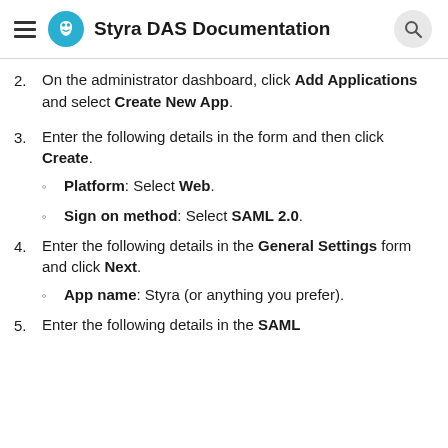Styra DAS Documentation
On the administrator dashboard, click Add Applications and select Create New App.
Enter the following details in the form and then click Create.
Platform: Select Web.
Sign on method: Select SAML 2.0.
Enter the following details in the General Settings form and click Next.
App name: Styra (or anything you prefer).
Enter the following details in the SAML